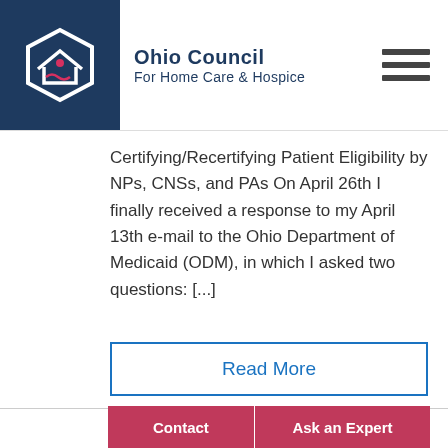[Figure (logo): Ohio Council for Home Care & Hospice logo — white hexagon with house and wave icons on dark navy background, with organization name to the right]
Certifying/Recertifying Patient Eligibility by NPs, CNSs, and PAs On April 26th I finally received a response to my April 13th e-mail to the Ohio Department of Medicaid (ODM), in which I asked two questions: [...]
Read More
[Figure (photo): Gray placeholder image block at the bottom of the page]
Contact
Ask an Expert